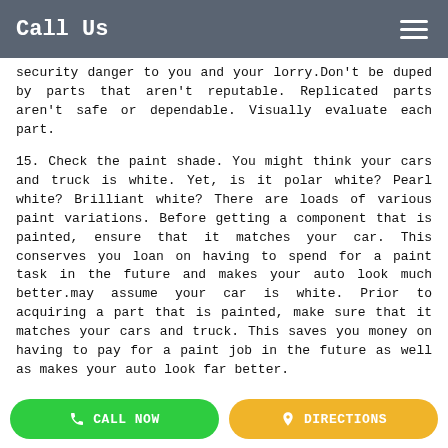Call Us
security danger to you and your lorry.Don't be duped by parts that aren't reputable. Replicated parts aren't safe or dependable. Visually evaluate each part.
15. Check the paint shade. You might think your cars and truck is white. Yet, is it polar white? Pearl white? Brilliant white? There are loads of various paint variations. Before getting a component that is painted, ensure that it matches your car. This conserves you loan on having to spend for a paint task in the future and makes your auto look much better.may assume your car is white. Prior to acquiring a part that is painted, make sure that it matches your cars and truck. This saves you money on having to pay for a paint job in the future as well as makes your auto look far better.
Buying used vehicle parts in Brisbane is a terrific concept for any person aiming to fix, recover, or change parts on their lorry. Whether you have a dinged up bumper, damaged
CALL NOW   DIRECTIONS